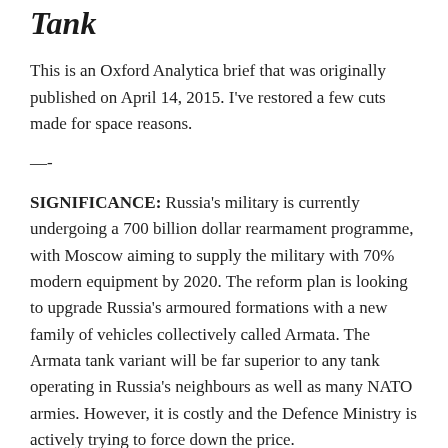Tank
This is an Oxford Analytica brief that was originally published on April 14, 2015. I've restored a few cuts made for space reasons.
—-
SIGNIFICANCE: Russia's military is currently undergoing a 700 billion dollar rearmament programme, with Moscow aiming to supply the military with 70% modern equipment by 2020. The reform plan is looking to upgrade Russia's armoured formations with a new family of vehicles collectively called Armata. The Armata tank variant will be far superior to any tank operating in Russia's neighbours as well as many NATO armies. However, it is costly and the Defence Ministry is actively trying to force down the price.
ANALYSIS: Impacts
Defence spending has been largely protected from 10%